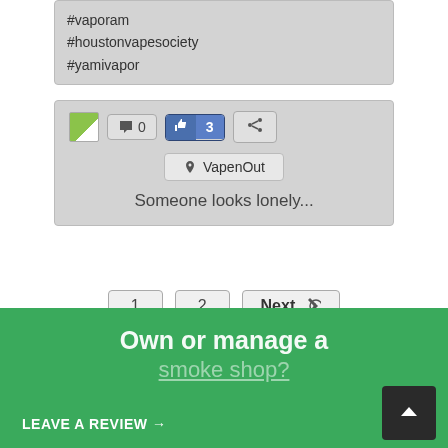#vaporam
#houstonvapesociety
#yamivapor
[Figure (screenshot): Social media post card with comment button showing 0, like button showing 3, share button, VapenOut location badge, and text 'Someone looks lonely...']
Someone looks lonely...
1   2   Next
150 results, Page 1 of 15 pages.
Own or manage a
smoke shop?
LEAVE A REVIEW →